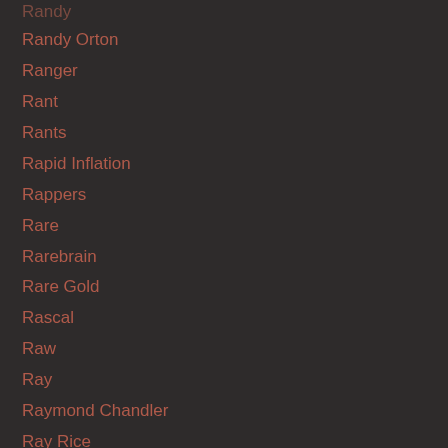Randy
Randy Orton
Ranger
Rant
Rants
Rapid Inflation
Rappers
Rare
Rarebrain
Rare Gold
Rascal
Raw
Ray
Raymond Chandler
Ray Rice
Rayshard Brooks
Razor Sharp Digital
Reading
Real
Real Estate
Reality Show